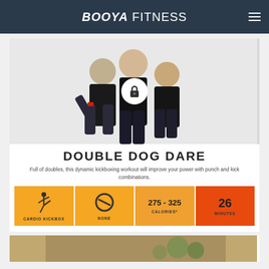BOOYA FITNESS
[Figure (photo): Three women in black Urban Kick fitness shirts posing together, smiling, with a lock icon overlay in the center]
DOUBLE DOG DARE
Full of doubles, this dynamic kickboxing workout will improve your power with punch and kick combinations.
[Figure (infographic): Four info tiles: CARDIO KICKBOX (yellow, kick figure icon), NONE (orange, no-equipment circle icon), 275 - 325 CALORIES* (orange), 26 MINUTES (red)]
[Figure (photo): Partial view of another workout card at bottom of page]